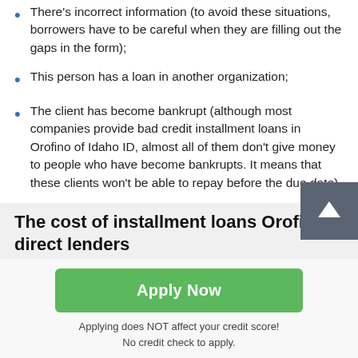There's incorrect information (to avoid these situations, borrowers have to be careful when they are filling out the gaps in the form);
This person has a loan in another organization;
The client has become bankrupt (although most companies provide bad credit installment loans in Orofino of Idaho ID, almost all of them don't give money to people who have become bankrupts. It means that these clients won't be able to repay before the due date).
The cost of installment loans Orofino direct lenders
[Figure (other): Green Apply Now button with text below: Applying does NOT affect your credit score! No credit check to apply.]
Applying does NOT affect your credit score! No credit check to apply.